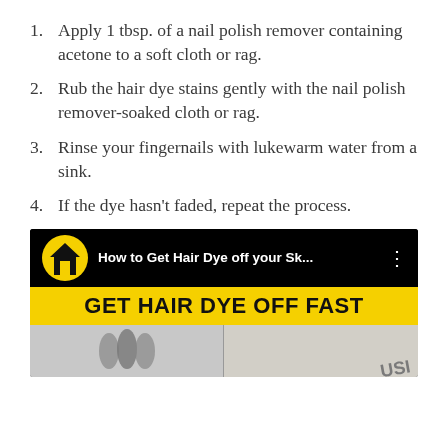1. Apply 1 tbsp. of a nail polish remover containing acetone to a soft cloth or rag.
2. Rub the hair dye stains gently with the nail polish remover-soaked cloth or rag.
3. Rinse your fingernails with lukewarm water from a sink.
4. If the dye hasn’t faded, repeat the process.
[Figure (screenshot): YouTube video thumbnail for 'How to Get Hair Dye off your Sk...' with yellow banner text 'GET HAIR DYE OFF FAST' and photo collage at bottom.]